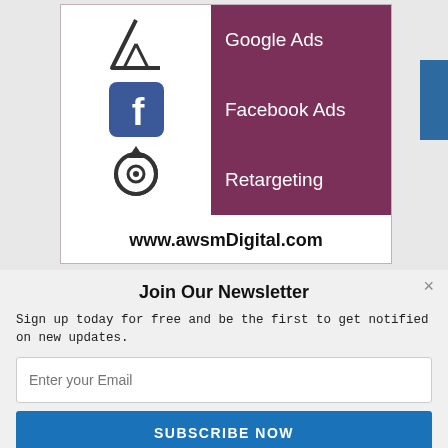[Figure (infographic): Advertisement card for awsmDigital.com showing three services: Google Ads, Facebook Ads, and Retargeting, each with an icon on the left and text on a purple background on the right.]
www.awsmDigital.com
Join Our Newsletter
Sign up today for free and be the first to get notified on new updates.
Enter your Email
SUBSCRIBE NOW